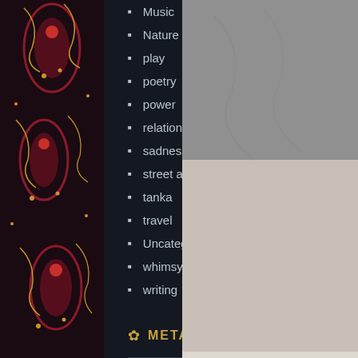[Figure (illustration): Decorative left border with dark background, red and gold paisley/floral patterns]
Music
Nature
play
poetry
power
relationships
sadness
street art
tanka
travel
Uncategorized
whimsy
writing
META
Register
Log in
Entries feed
[Figure (photo): Grayscale photo in upper right, appears to show fabric or natural texture]
Each remi Som alone back stopp I am you,